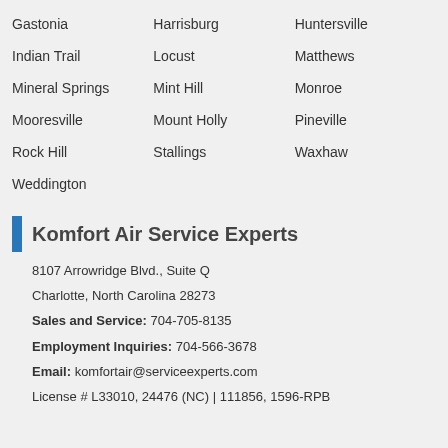Gastonia
Harrisburg
Huntersville
Indian Trail
Locust
Matthews
Mineral Springs
Mint Hill
Monroe
Mooresville
Mount Holly
Pineville
Rock Hill
Stallings
Waxhaw
Weddington
Komfort Air Service Experts
8107 Arrowridge Blvd., Suite Q
Charlotte, North Carolina 28273
Sales and Service: 704-705-8135
Employment Inquiries: 704-566-3678
Email: komfortair@serviceexperts.com
License # L33010, 24476 (NC) | 111856, 1596-RPB